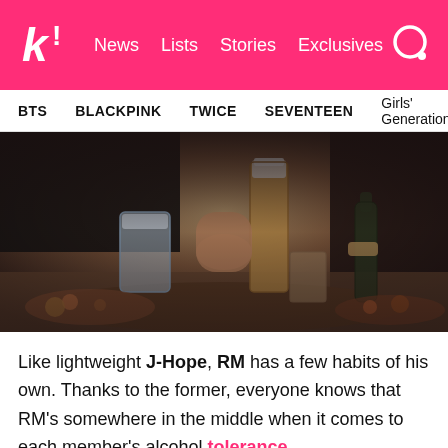k! News Lists Stories Exclusives
BTS BLACKPINK TWICE SEVENTEEN Girls' Generation
[Figure (photo): Close-up photo of people at a dining table holding beer glasses and drinks, with food visible on the table]
Like lightweight J-Hope, RM has a few habits of his own. Thanks to the former, everyone knows that RM's somewhere in the middle when it comes to each member's alcohol tolerance.